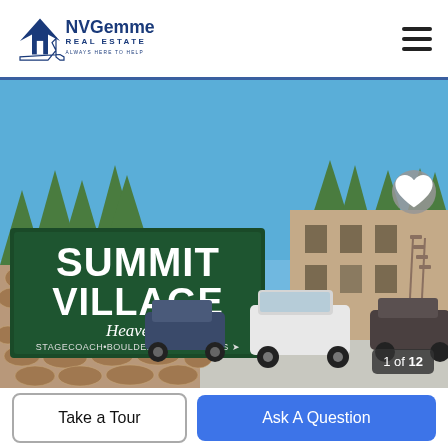NVGemme Real Estate
[Figure (photo): Outdoor photo of Summit Village Heavenly condominium complex. In the foreground is a large stone-base sign reading 'SUMMIT VILLAGE Heavenly STAGECOACH+BOULDER PARKING LOTS →'. Behind the sign are tall pine trees, a multi-story tan/beige apartment building, and parked cars including a white SUV. The sky is clear blue. Photo counter overlay: 1 of 12.]
Take a Tour
Ask A Question